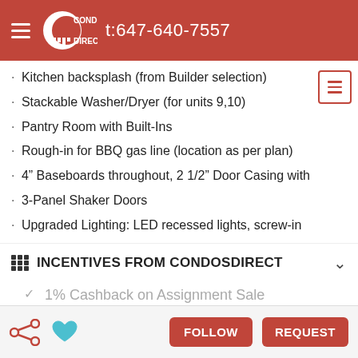CONDOS DIRECT t:647-640-7557
Kitchen backsplash (from Builder selection)
Stackable Washer/Dryer (for units 9,10)
Pantry Room with Built-Ins
Rough-in for BBQ gas line (location as per plan)
4" Baseboards throughout, 2 1/2" Door Casing with
3-Panel Shaker Doors
Upgraded Lighting: LED recessed lights, screw-in
INCENTIVES FROM CONDOSDIRECT
1% Cashback on Assignment Sale
Purchase Financing Assistance
HST Rebate Assistance
FOLLOW  REQUEST